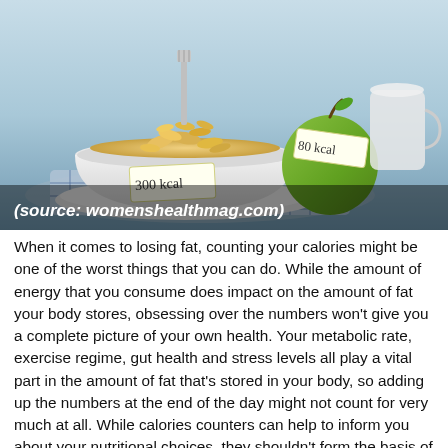[Figure (photo): Photo of a white bowl filled with corn flakes cereal, with a handwritten sticky note reading '300 kcal', next to a green apple with a handwritten sticky note reading '80 kcal', placed on a blue and white checkered cloth. Background is light blue. Source caption: (source: womenshealthmag.com)]
(source: womenshealthmag.com)
When it comes to losing fat, counting your calories might be one of the worst things that you can do. While the amount of energy that you consume does impact on the amount of fat your body stores, obsessing over the numbers won't give you a complete picture of your own health. Your metabolic rate, exercise regime, gut health and stress levels all play a vital part in the amount of fat that's stored in your body, so adding up the numbers at the end of the day might not count for very much at all. While calories counters can help to inform you about your nutritional choices, they shouldn't form the basis of your meal plans. Take the numbers loosely into account, of